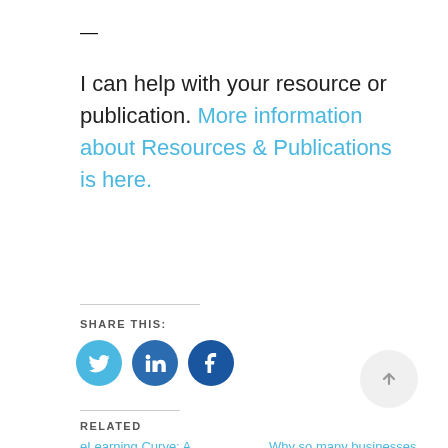—
I can help with your resource or publication. More information about Resources & Publications is here.
SHARE THIS:
[Figure (other): Social media share icons: Twitter (blue bird), LinkedIn (blue), Facebook (blue)]
[Figure (other): Scroll-to-top button: circle with upward arrow]
RELATED
eLearning Curve: A snapshot of course Why so many businesses fail on